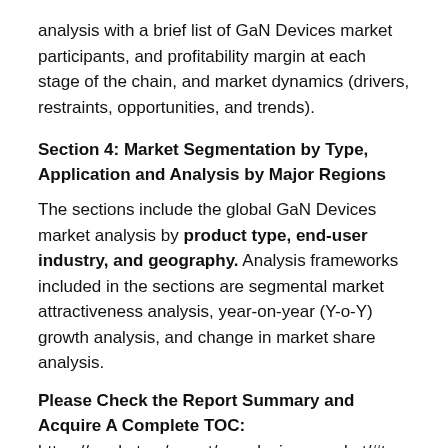analysis with a brief list of GaN Devices market participants, and profitability margin at each stage of the chain, and market dynamics (drivers, restraints, opportunities, and trends).
Section 4: Market Segmentation by Type, Application and Analysis by Major Regions
The sections include the global GaN Devices market analysis by product type, end-user industry, and geography. Analysis frameworks included in the sections are segmental market attractiveness analysis, year-on-year (Y-o-Y) growth analysis, and change in market share analysis.
Please Check the Report Summary and Acquire A Complete TOC: https://market.us/report/gan-devices-market/#toc